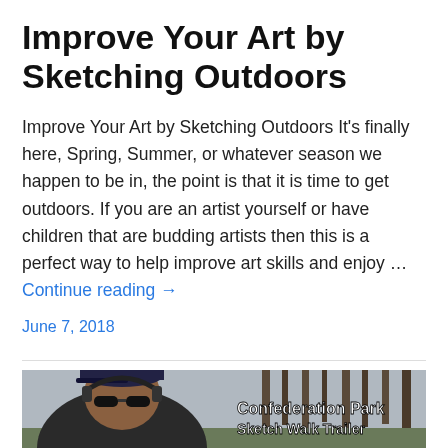Improve Your Art by Sketching Outdoors
Improve Your Art by Sketching Outdoors It's finally here, Spring, Summer, or whatever season we happen to be in, the point is that it is time to get outdoors. If you are an artist yourself or have children that are budding artists then this is a perfect way to help improve art skills and enjoy … Continue reading →
June 7, 2018
[Figure (photo): Photo of a man wearing headphones, a dark cap, and sunglasses, outdoors with bare trees visible in the background. Overlaid text reads 'Confederation Park Sketch Walk Trailer']